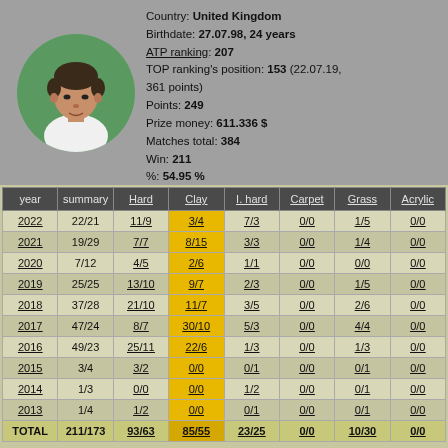[Figure (photo): Circular portrait photo of a tennis player with short curly hair wearing a white shirt, green background]
Country: United Kingdom
Birthdate: 27.07.98, 24 years
ATP ranking: 207
TOP ranking's position: 153 (22.07.19, 361 points)
Points: 249
Prize money: 611.336 $
Matches total: 384
Win: 211
%: 54.95 %
| year | summary | Hard | Clay | I. hard | Carpet | Grass | Acrylic |
| --- | --- | --- | --- | --- | --- | --- | --- |
| 2022 | 22/21 | 11/9 | 3/4 | 7/3 | 0/0 | 1/5 | 0/0 |
| 2021 | 19/29 | 7/7 | 8/15 | 3/3 | 0/0 | 1/4 | 0/0 |
| 2020 | 7/12 | 4/5 | 2/6 | 1/1 | 0/0 | 0/0 | 0/0 |
| 2019 | 25/25 | 13/10 | 9/7 | 2/3 | 0/0 | 1/5 | 0/0 |
| 2018 | 37/28 | 21/10 | 11/7 | 3/5 | 0/0 | 2/6 | 0/0 |
| 2017 | 47/24 | 8/7 | 30/10 | 5/3 | 0/0 | 4/4 | 0/0 |
| 2016 | 49/23 | 25/11 | 22/6 | 1/3 | 0/0 | 1/3 | 0/0 |
| 2015 | 3/4 | 3/2 | 0/0 | 0/1 | 0/0 | 0/1 | 0/0 |
| 2014 | 1/3 | 0/0 | 0/0 | 1/2 | 0/0 | 0/1 | 0/0 |
| 2013 | 1/4 | 1/2 | 0/0 | 0/1 | 0/0 | 0/1 | 0/0 |
| TOTAL | 211/173 | 93/63 | 85/55 | 23/25 | 0/0 | 10/30 | 0/0 |